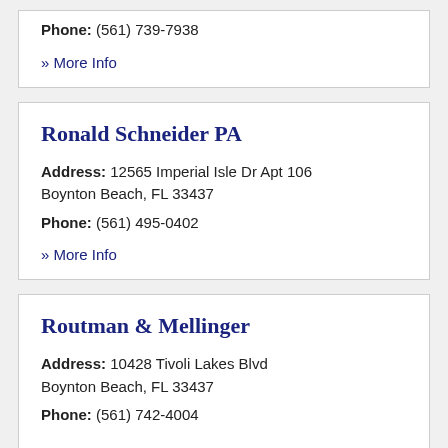Phone: (561) 739-7938
» More Info
Ronald Schneider PA
Address: 12565 Imperial Isle Dr Apt 106 Boynton Beach, FL 33437
Phone: (561) 495-0402
» More Info
Routman & Mellinger
Address: 10428 Tivoli Lakes Blvd Boynton Beach, FL 33437
Phone: (561) 742-4004